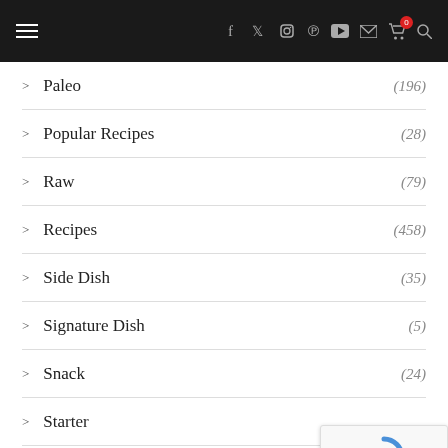Navigation bar with hamburger menu and social/action icons
> Paleo (196)
> Popular Recipes (28)
> Raw (79)
> Recipes (458)
> Side Dish (35)
> Signature Dish (5)
> Snack (24)
> Starter
> Vegan (458)